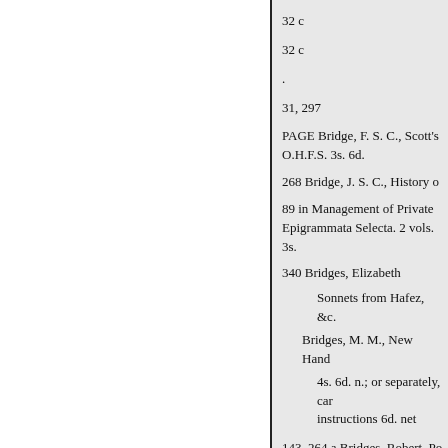32 c
32 c
.
31, 297
PAGE Bridge, F. S. C., Scott's O.H.F.S. 3s. 6d.
268 Bridge, J. S. C., History o
89 in Management of Private Epigrammata Selecta. 2 vols. 3s.
340 Bridges, Elizabeth
Sonnets from Hafez, &c.
Bridges, M. M., New Hand
4s. 6d. n.; or separately, car instructions 6d. net
143, 264 a Bridges, Robert, Po
32 c, 148, 182, 188, 212 Dem
32 c, 48b Address to W. E. A.